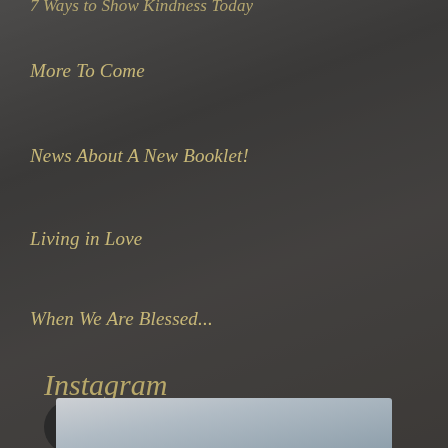7 Ways to Show Kindness Today
More To Come
News About A New Booklet!
Living in Love
When We Are Blessed...
Instagram
cspauley
[Figure (photo): Partial photo preview at bottom of page showing a landscape or outdoor scene]